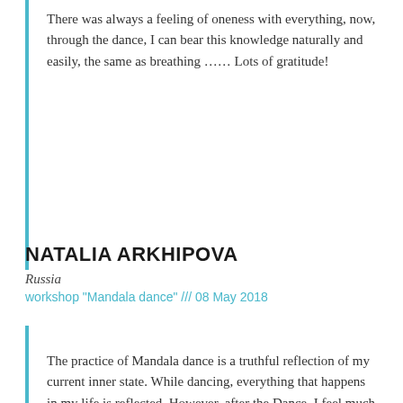There was always a feeling of oneness with everything, now, through the dance, I can bear this knowledge naturally and easily, the same as breathing …… Lots of gratitude!
NATALIA ARKHIPOVA
Russia
workshop "Mandala dance" /// 08 May 2018
The practice of Mandala dance is a truthful reflection of my current inner state. While dancing, everything that happens in my life is reflected. However, after the Dance, I feel much more balanced and calm, experiencing deep silence inside. Silence and clarity are the most important for me